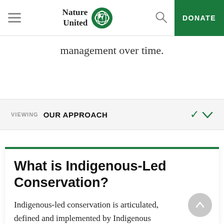Nature United — DONATE
management over time.
VIEWING OUR APPROACH
What is Indigenous-Led Conservation?
Indigenous-led conservation is articulated, defined and implemented by Indigenous